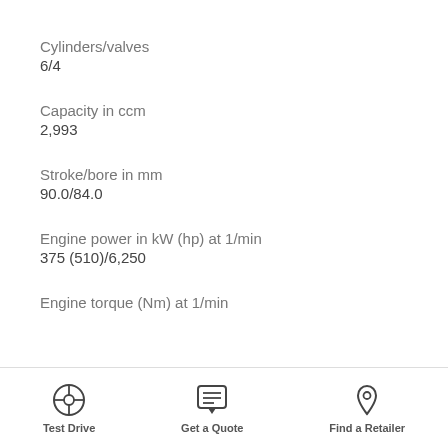Cylinders/valves
6/4
Capacity in ccm
2,993
Stroke/bore in mm
90.0/84.0
Engine power in kW (hp) at 1/min
375 (510)/6,250
Engine torque (Nm) at 1/min
Test Drive | Get a Quote | Find a Retailer